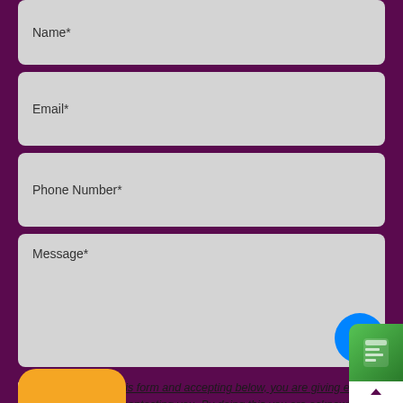Name*
Email*
Phone Number*
Message*
By filling out this form and accepting below, you are giving explicit consent to us contacting you. By doing this you are acknowledging our privacy policy. It is your right at any time to unsubscribe and stop receiving further communications.*